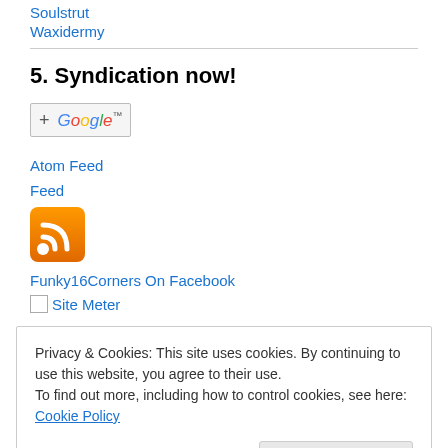Soulstrut
Waxidermy
5. Syndication now!
[Figure (other): Add to Google button with blue + sign and Google logo]
Atom Feed
Feed
[Figure (other): Orange RSS feed icon]
Funky16Corners On Facebook
Site Meter
Privacy & Cookies: This site uses cookies. By continuing to use this website, you agree to their use.
To find out more, including how to control cookies, see here: Cookie Policy
Close and accept
About